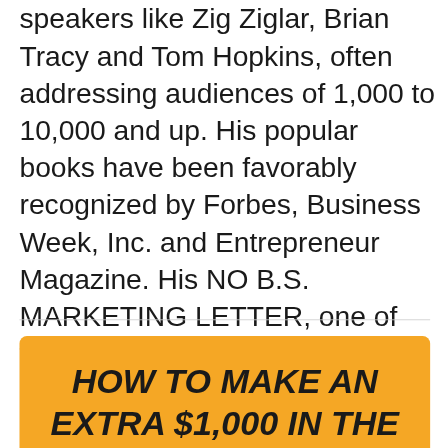speakers like Zig Ziglar, Brian Tracy and Tom Hopkins, often addressing audiences of 1,000 to 10,000 and up. His popular books have been favorably recognized by Forbes, Business Week, Inc. and Entrepreneur Magazine. His NO B.S. MARKETING LETTER, one of the business newsletters published for Members of Glazer-Kennedy Insider's Circle, is the largest paid subscription newsletter in its genre in the world.]
HOW TO MAKE AN EXTRA $1,000 IN THE NEXT 24 HOURS